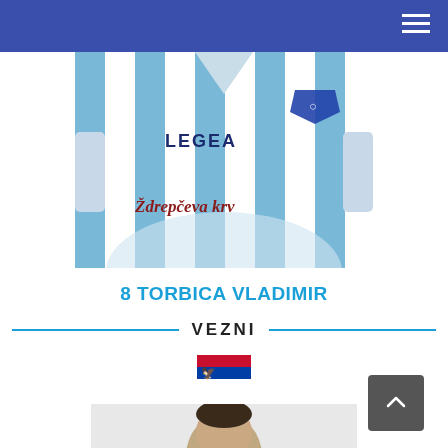Navigation header with hamburger menu
[Figure (photo): Football player wearing blue and white striped LEGEA jersey with 'Ždrепčeva krv' sponsor text on the chest and a triangular club badge]
8 TORBICA VLADIMIR
VEZNI
[Figure (photo): Serbian national flag icon]
[Figure (photo): Partial photo of another player, cropped at bottom of page]